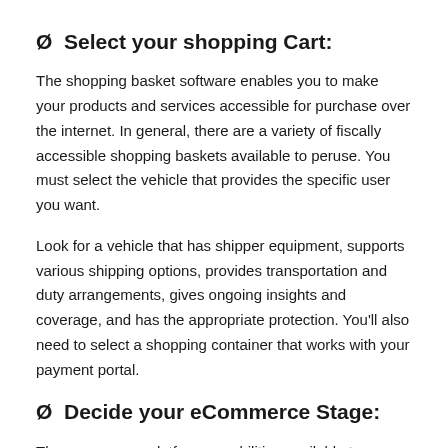Ø  Select your shopping Cart:
The shopping basket software enables you to make your products and services accessible for purchase over the internet. In general, there are a variety of fiscally accessible shopping baskets available to peruse. You must select the vehicle that provides the specific user you want.
Look for a vehicle that has shipper equipment, supports various shipping options, provides transportation and duty arrangements, gives ongoing insights and coverage, and has the appropriate protection. You'll also need to select a shopping container that works with your payment portal.
Ø  Decide your eCommerce Stage:
The ecommerce platform capabilities available to you are...